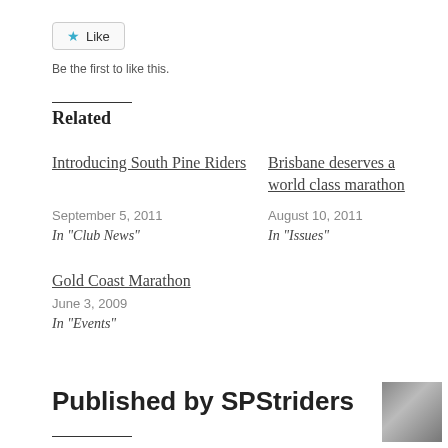[Figure (other): Like button with star icon]
Be the first to like this.
Related
Introducing South Pine Riders
September 5, 2011
In "Club News"
Brisbane deserves a world class marathon
August 10, 2011
In "Issues"
Gold Coast Marathon
June 3, 2009
In "Events"
Published by SPStriders
[Figure (photo): Group photo of runners]